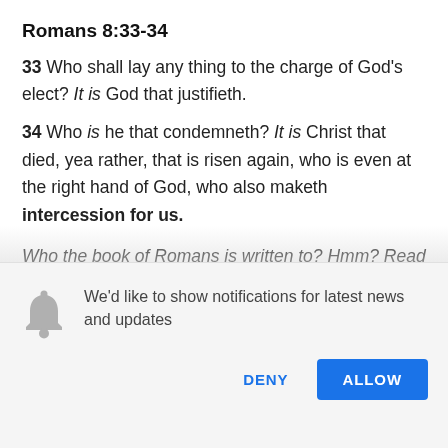Romans 8:33-34
33 Who shall lay any thing to the charge of God's elect? It is God that justifieth.
34 Who is he that condemneth? It is Christ that died, yea rather, that is risen again, who is even at the right hand of God, who also maketh intercession for us.
Who the book of Romans is written to? Hmm? Read Romans 1:7 So who are
We'd like to show notifications for latest news and updates